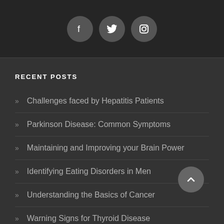[Figure (other): Social media icons: Facebook, Twitter, Instagram in circular dark buttons]
RECENT POSTS
Challenges faced by Hepatitis Patients
Parkinson Disease: Common Symptoms
Maintaining and Improving your Brain Power
Identifying Eating Disorders in Men
Understanding the Basics of Cancer
Warning Signs for Thyroid Disease